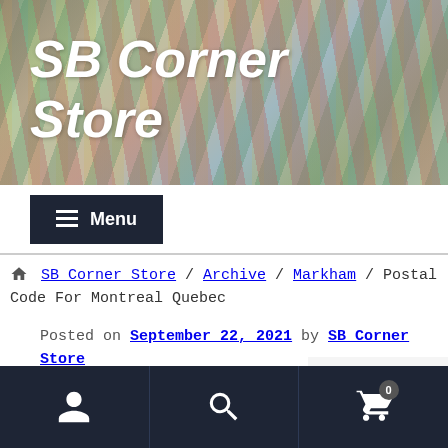SB Corner Store
≡ Menu
🏠 SB Corner Store / Archive / Markham / Postal Code For Montreal Quebec
Posted on September 22, 2021 by SB Corner Store
Postal Code For
Back to top ▲
user icon | search icon | cart icon (0)